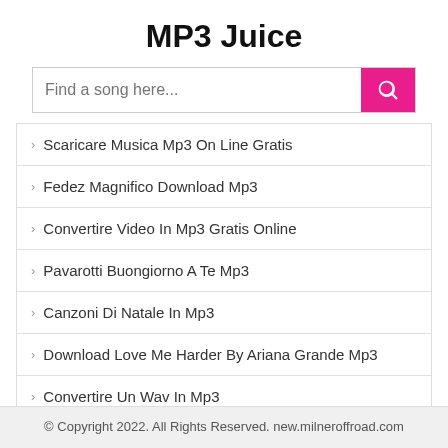MP3 Juice
[Figure (other): Search bar with placeholder 'Find a song here...' and a pink search button with magnifying glass icon]
Scaricare Musica Mp3 On Line Gratis
Fedez Magnifico Download Mp3
Convertire Video In Mp3 Gratis Online
Pavarotti Buongiorno A Te Mp3
Canzoni Di Natale In Mp3
Download Love Me Harder By Ariana Grande Mp3
Convertire Un Wav In Mp3
Convertire File Ape In Mp3 Mac
© Copyright 2022. All Rights Reserved. new.milneroffroad.com